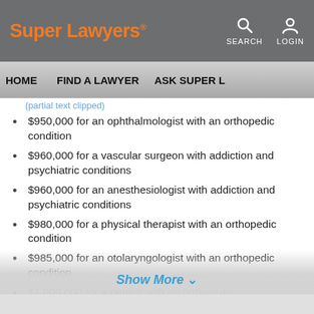Super Lawyers | SEARCH | LOGIN
HOME | FIND A LAWYER | ASK SUPER L...
$950,000 for an ophthalmologist with an orthopedic condition
$960,000 for a vascular surgeon with addiction and psychiatric conditions
$960,000 for an anesthesiologist with addiction and psychiatric conditions
$980,000 for a physical therapist with an orthopedic condition
$985,000 for an otolaryngologist with an orthopedic condition
$1,000,000 for a dentist with an orthopedic condition